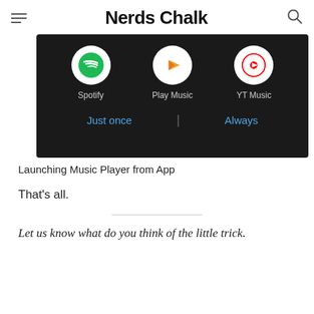Nerds Chalk
[Figure (screenshot): Android app chooser dialog on dark background showing three music apps: Spotify, Play Music, and YT Music, with 'Just once' and 'Always' buttons at the bottom]
Launching Music Player from App
That's all.
Let us know what do you think of the little trick.